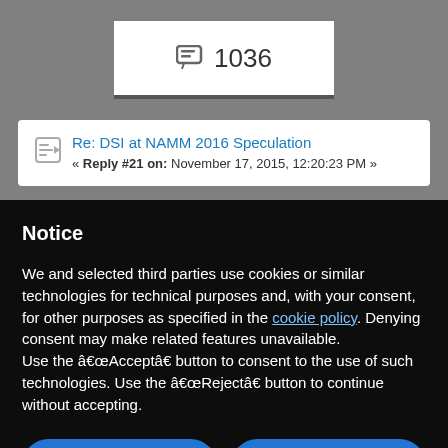[Figure (screenshot): Forum thread comment count badge showing speech bubble icon and number 1036]
Re: DSI at NAMM 2016 Speculation
« Reply #21 on: November 17, 2015, 12:20:23 PM »
Notice
We and selected third parties use cookies or similar technologies for technical purposes and, with your consent, for other purposes as specified in the cookie policy. Denying consent may make related features unavailable.
Use the “Accept” button to consent to the use of such technologies. Use the “Reject” button to continue without accepting.
Reject
Accept
Learn more and customize